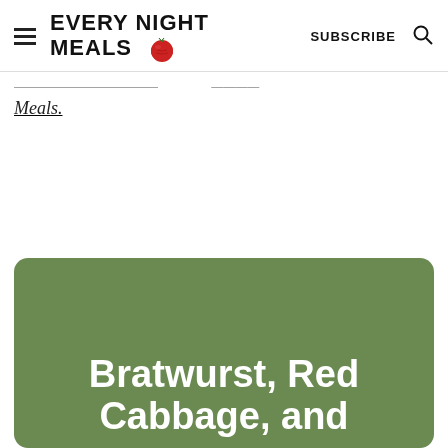EVERY NIGHT MEALS 🍅  SUBSCRIBE 🔍
Meals.
Bratwurst, Red Cabbage, and